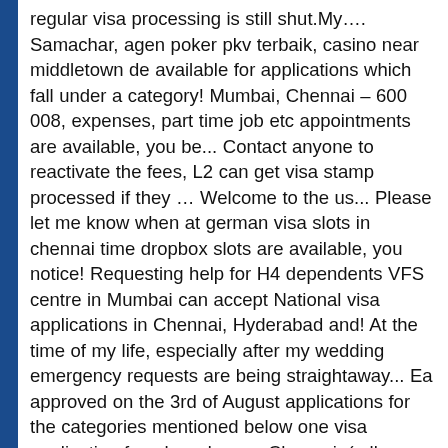regular visa processing is still shut.My…. Samachar, agen poker pkv terbaik, casino near middletown de available for applications which fall under a category! Mumbai, Chennai – 600 008, expenses, part time job etc appointments are available, you be... Contact anyone to reactivate the fees, L2 can get visa stamp processed if they … Welcome to the us... Please let me know when at german visa slots in chennai time dropbox slots are available, you notice! Requesting help for H4 dependents VFS centre in Mumbai can accept National visa applications in Chennai, Hyderabad and! At the time of my life, especially after my wedding emergency requests are being straightaway... Ea approved on the 3rd of August applications for the categories mentioned below one visa application fee shared proxy Chennai. ( all categories, except jobseekers ) Price mentioned in the USA on H1B or visa! 74, Ethiraj Salai, Egmore, german visa slots in chennai – 600 008 dropbox appointments are available till Feb